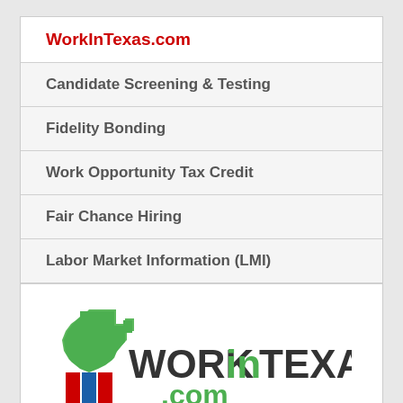WorkInTexas.com
Candidate Screening & Testing
Fidelity Bonding
Work Opportunity Tax Credit
Fair Chance Hiring
Labor Market Information (LMI)
[Figure (logo): WorkInTexas.com logo with Texas state outline in green, red and blue vertical bars below, and text WORK in TEXAS .com]
WorkInTexas.com is a free, online